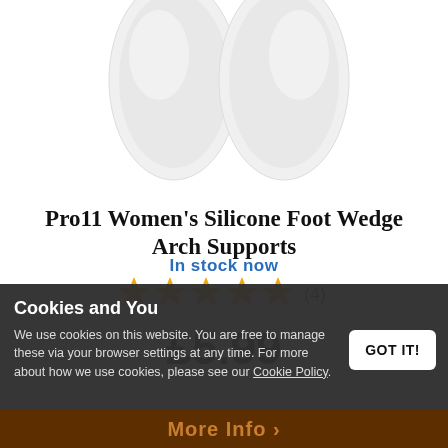[Figure (photo): Two translucent white silicone foot wedge arch support insoles on a white background, partially cropped at the top]
Pro11 Women's Silicone Foot Wedge Arch Supports
[Figure (other): Five gold star rating icons with review count (4) in parentheses]
£5.99
In stock now
Cookies and You
We use cookies on this website. You are free to manage these via your browser settings at any time. For more about how we use cookies, please see our Cookie Policy.
GOT IT!
More Info >